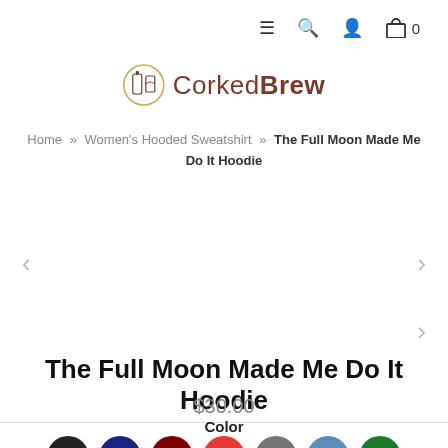Navigation bar with menu, search, account, and cart (0) icons
[Figure (logo): CorkedBrew logo with circular bottle and glass icon next to the text 'CorkedBrew']
Home » Women's Hooded Sweatshirt » The Full Moon Made Me Do It Hoodie
The Full Moon Made Me Do It Hoodie
$30.00
Color